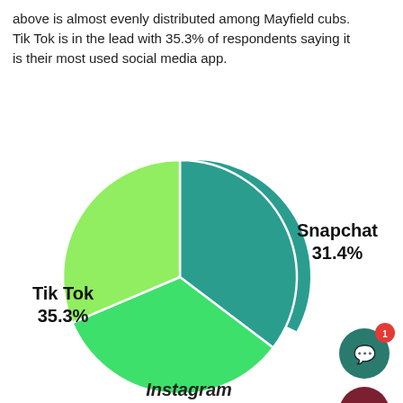above is almost evenly distributed among Mayfield cubs. Tik Tok is in the lead with 35.3% of respondents saying it is their most used social media app.
[Figure (pie-chart): Most Used Social Media App]